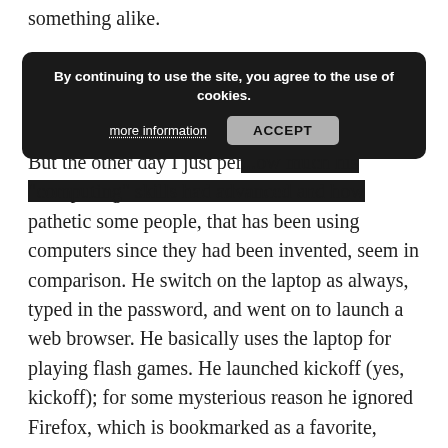something alike.
[Figure (screenshot): Cookie consent banner with dark background. Text reads: 'By continuing to use the site, you agree to the use of cookies.' with a 'more information' link and an 'ACCEPT' button.]
But the other day I just per... ...now much his "computing" skills had advanced and how pathetic some people, that has been using computers since they had been invented, seem in comparison. He switch on the laptop as always, typed in the password, and went on to launch a web browser. He basically uses the laptop for playing flash games. He launched kickoff (yes, kickoff); for some mysterious reason he ignored Firefox, which is bookmarked as a favorite, move to the 'recently used' tab, looked for Opera and launched it. Then, he moved to the direction bar, or whatever you call it, pressed the button that shows the recently typed web pages (that small triangle) and scrolled through the list until the found the one he likes. I've no clue how he recognized the domain, by the way. (Shape recognition?). The page loaded and then he clicked